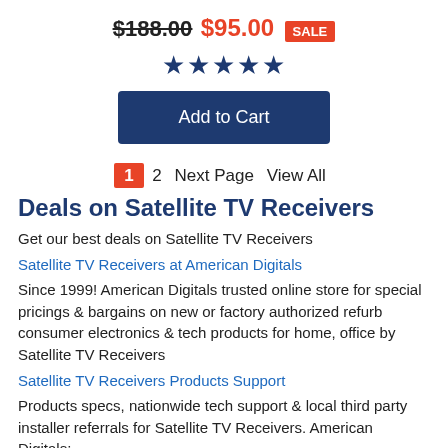$188.00 $95.00 SALE
[Figure (other): Five filled star rating icons]
Add to Cart
1  2  Next Page  View All
Deals on Satellite TV Receivers
Get our best deals on Satellite TV Receivers
Satellite TV Receivers at American Digitals
Since 1999! American Digitals trusted online store for special pricings & bargains on new or factory authorized refurb consumer electronics & tech products for home, office by Satellite TV Receivers
Satellite TV Receivers Products Support
Products specs, nationwide tech support & local third party installer referrals for Satellite TV Receivers. American Digitals: